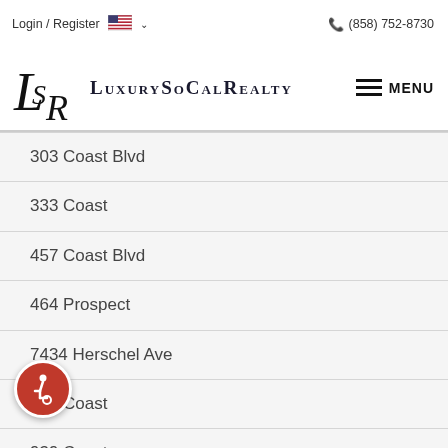Login / Register  🇺🇸 ∨   (858) 752-8730
[Figure (logo): LSR LuxurySoCalRealty logo with stylized LSR monogram and MENU hamburger button]
303 Coast Blvd
333 Coast
457 Coast Blvd
464 Prospect
7434 Herschel Ave
909 Coast
939 Coast
eline